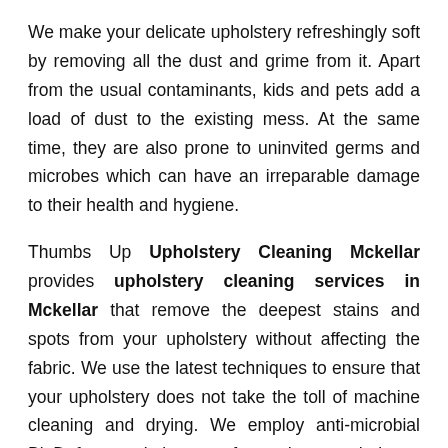We make your delicate upholstery refreshingly soft by removing all the dust and grime from it. Apart from the usual contaminants, kids and pets add a load of dust to the existing mess. At the same time, they are also prone to uninvited germs and microbes which can have an irreparable damage to their health and hygiene.
Thumbs Up Upholstery Cleaning Mckellar provides upholstery cleaning services in Mckellar that remove the deepest stains and spots from your upholstery without affecting the fabric. We use the latest techniques to ensure that your upholstery does not take the toll of machine cleaning and drying. We employ anti-microbial BioDefense solution to safeguard your upholstery against unwarranted aging.
Call us for residential, commercial or contractual